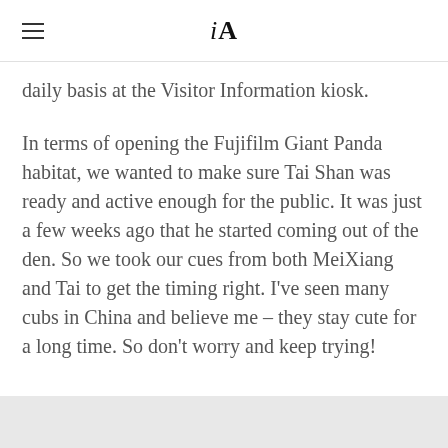iA
daily basis at the Visitor Information kiosk.
In terms of opening the Fujifilm Giant Panda habitat, we wanted to make sure Tai Shan was ready and active enough for the public. It was just a few weeks ago that he started coming out of the den. So we took our cues from both MeiXiang and Tai to get the timing right. I've seen many cubs in China and believe me – they stay cute for a long time. So don't worry and keep trying!